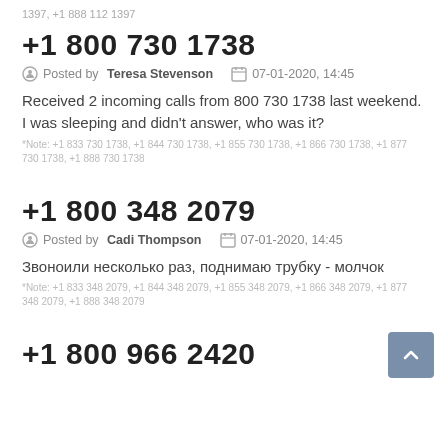1397, +1 888 112 1397
+1 800 730 1738
Posted by Teresa Stevenson  07-01-2020, 14:45
Received 2 incoming calls from 800 730 1738 last weekend. I was sleeping and didn't answer, who was it?
*Note: +1 833 730 1738, +1 844 730 1738, +1 855 730 1738, +1 866 730 1738, +1 877 730 1738, +1 888 730 1738
+1 800 348 2079
Posted by Cadi Thompson  07-01-2020, 14:45
Звоноили несколько раз, поднимаю трубку - молчок
*Note: +1 833 348 2079, +1 844 348 2079, +1 855 348 2079, +1 866 348 2079, +1 877 348 2079, +1 888 348 2079
+1 800 966 2420